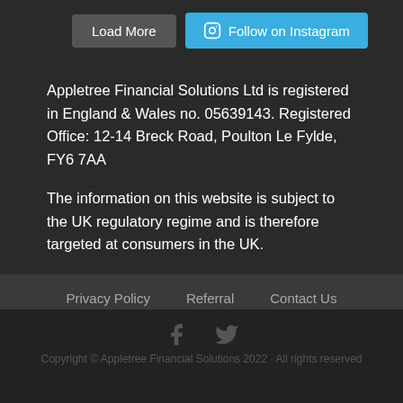[Figure (screenshot): Two buttons: 'Load More' (grey) and 'Follow on Instagram' (blue with Instagram icon)]
Appletree Financial Solutions Ltd is registered in England & Wales no. 05639143. Registered Office: 12-14 Breck Road, Poulton Le Fylde, FY6 7AA
The information on this website is subject to the UK regulatory regime and is therefore targeted at consumers in the UK.
Privacy Policy   Referral   Contact Us
[Figure (illustration): Facebook and Twitter social media icons in dark grey]
Copyright © Appletree Financial Solutions 2022 · All rights reserved